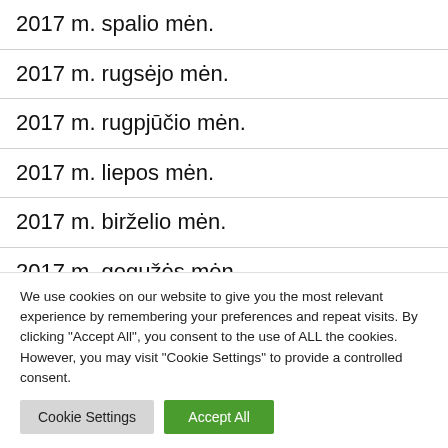2017 m. spalio mėn.
2017 m. rugsėjo mėn.
2017 m. rugpjūčio mėn.
2017 m. liepos mėn.
2017 m. birželio mėn.
2017 m. gegužės mėn.
2017 m. balandžio mėn.
We use cookies on our website to give you the most relevant experience by remembering your preferences and repeat visits. By clicking "Accept All", you consent to the use of ALL the cookies. However, you may visit "Cookie Settings" to provide a controlled consent.